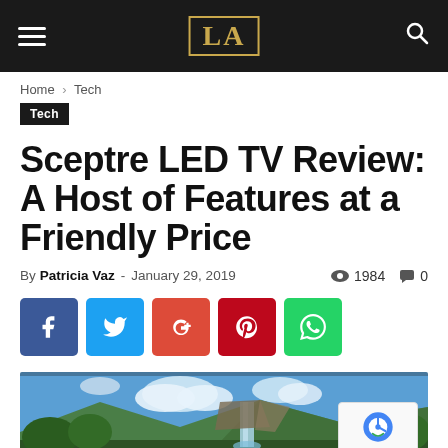LA
Home › Tech
Tech
Sceptre LED TV Review: A Host of Features at a Friendly Price
By Patricia Vaz - January 29, 2019  👁 1984  💬 0
[Figure (infographic): Social share buttons: Facebook, Twitter, Google+, Pinterest, WhatsApp]
[Figure (photo): Sceptre LED TV displaying a landscape with waterfall and greenery]